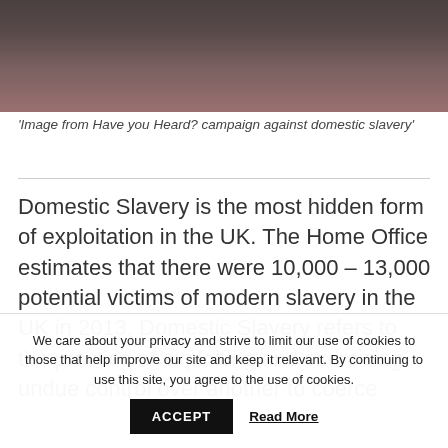[Figure (photo): Close-up photograph of a person's neck and lower face, dark moody tones, part of the 'Have you Heard?' campaign against domestic slavery]
'Image from Have you Heard? campaign against domestic slavery'
Domestic Slavery is the most hidden form of exploitation in the UK. The Home Office estimates that there were 10,000 – 13,000 potential victims of modern slavery in the UK in 2013. Domestic Slavery refers to the practice of exploiting and exercising undue control over another to coerce
We care about your privacy and strive to limit our use of cookies to those that help improve our site and keep it relevant. By continuing to use this site, you agree to the use of cookies.
ACCEPT
Read More